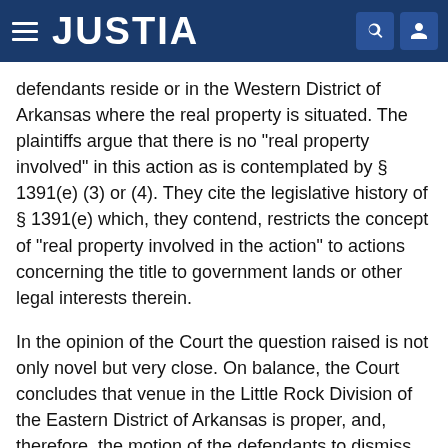JUSTIA
defendants reside or in the Western District of Arkansas where the real property is situated. The plaintiffs argue that there is no "real property involved" in this action as is contemplated by § 1391(e) (3) or (4). They cite the legislative history of § 1391(e) which, they contend, restricts the concept of "real property involved in the action" to actions concerning the title to government lands or other legal interests therein.
In the opinion of the Court the question raised is not only novel but very close. On balance, the Court concludes that venue in the Little Rock Division of the Eastern District of Arkansas is proper, and, therefore, the motion of the defendants to dismiss for improper venue will be overruled.
The Court is not impressed with the plaintiffs' argument